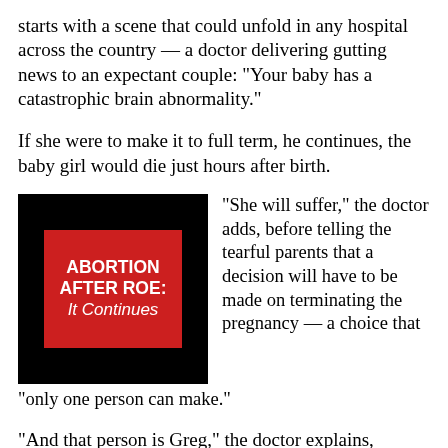starts with a scene that could unfold in any hospital across the country — a doctor delivering gutting news to an expectant couple: “Your baby has a catastrophic brain abnormality.”
If she were to make it to full term, he continues, the baby girl would die just hours after birth.
[Figure (illustration): Black square containing a red rectangle with white bold text reading 'ABORTION AFTER ROE: It Continues']
“She will suffer,” the doctor adds, before telling the tearful parents that a decision will have to be made on terminating the pregnancy — a choice that “only one person can make.”
“And that person is Greg,” the doctor explains,